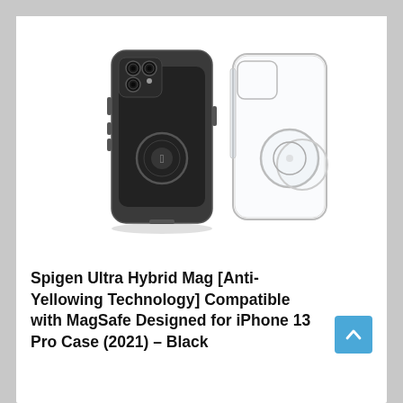[Figure (photo): Product photo showing Spigen Ultra Hybrid Mag iPhone 13 Pro case in black/clear, displayed as a phone with the case on (dark) next to a transparent clear case shell with MagSafe ring components.]
Spigen Ultra Hybrid Mag [Anti-Yellowing Technology] Compatible with MagSafe Designed for iPhone 13 Pro Case (2021) – Black